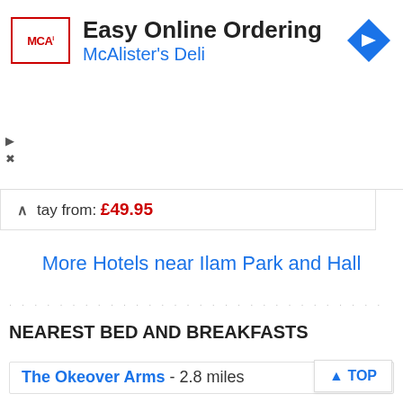[Figure (other): Advertisement banner for McAlister's Deli - Easy Online Ordering with logo and navigation arrow icon]
stay from: £49.95
More Hotels near Ilam Park and Hall
NEAREST BED AND BREAKFASTS
The Okeover Arms - 2.8 miles
TOP